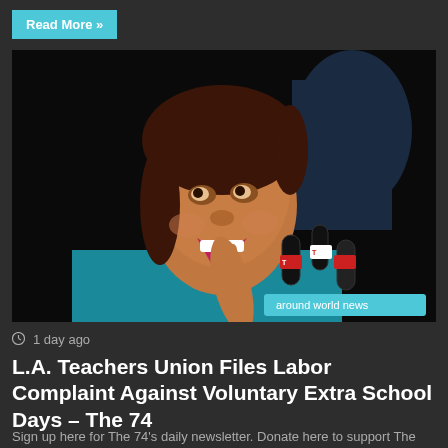Read More »
[Figure (photo): A woman speaking passionately at a press conference with multiple microphones in front of her, wearing a teal top, with a badge reading 'around world news' in the lower right corner.]
around world news
1 day ago
L.A. Teachers Union Files Labor Complaint Against Voluntary Extra School Days – The 74
Sign up here for The 74's daily newsletter. Donate here to support The 74. Access to learning, research, and To...